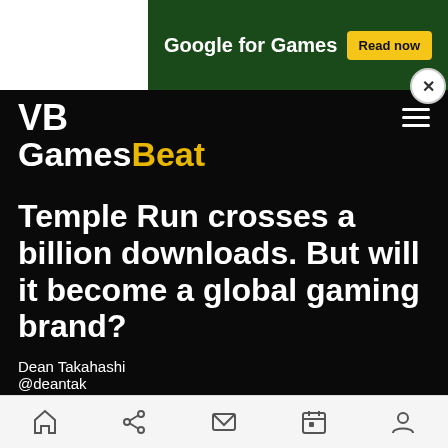[Figure (screenshot): Google for Games advertisement banner with dark green background, white text 'Google for Games' and yellow 'Read now' button]
VB GamesBeat
Temple Run crosses a billion downloads. But will it become a global gaming brand?
Dean Takahashi
@deantak
Bottom navigation bar with home, share, mail, calendar, and profile icons